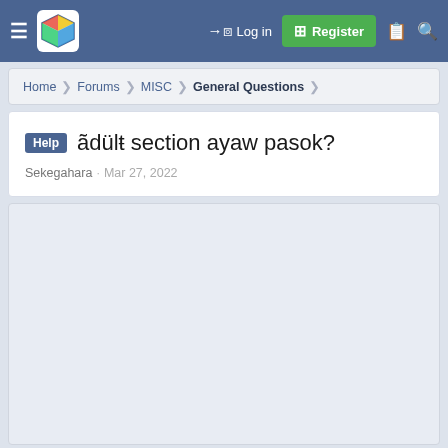≡ [Logo] Log in | Register
Home › Forums › MISC › General Questions
Help ãdülŧ section ayaw pasok?
Sekegahara · Mar 27, 2022
[Figure (other): Empty content area / forum post body]